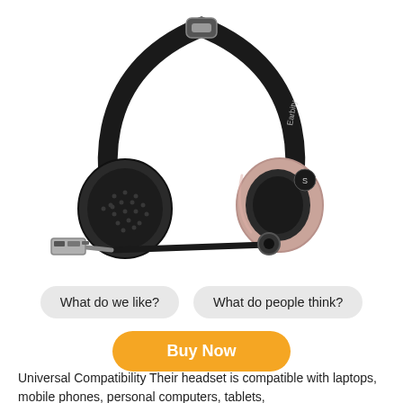[Figure (photo): A black over-ear headset with a microphone boom arm and a USB connector at the end of the mic arm. The headset has two ear cups — one with a perforated mesh pattern and one with a rose-gold accent. The headband has a brand logo on it. The headset is shown on a white background.]
What do we like?
What do people think?
Buy Now
Universal Compatibility Their headset is compatible with laptops, mobile phones, personal computers, tablets,